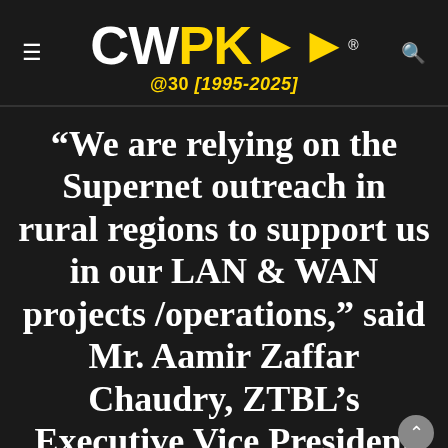[Figure (logo): CWPK logo with double arrow, @30 [1995-2025] tagline, hamburger menu icon on left, search icon on right]
“We are relying on the Supernet outreach in rural regions to support us in our LAN & WAN projects /operations,” said Mr. Aamir Zaffar Chaudry, ZTBL’s Executive Vice President and